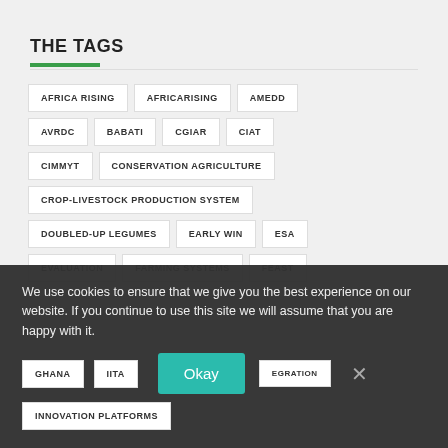THE TAGS
AFRICA RISING
AFRICARISING
AMEDD
AVRDC
BABATI
CGIAR
CIAT
CIMMYT
CONSERVATION AGRICULTURE
CROP-LIVESTOCK PRODUCTION SYSTEM
DOUBLED-UP LEGUMES
EARLY WIN
ESA
EVALUATION
FARMING SYSTEMS
FEAST
GHANA
IITA
INNOVATION PLATFORMS
We use cookies to ensure that we give you the best experience on our website. If you continue to use this site we will assume that you are happy with it.